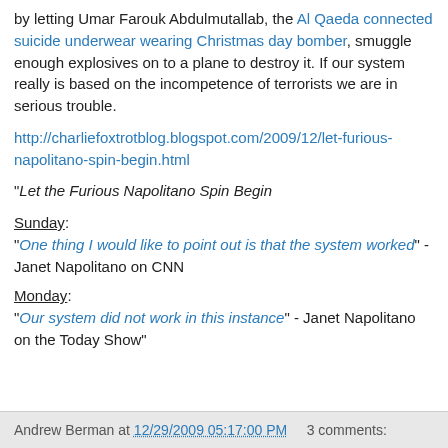by letting Umar Farouk Abdulmutallab, the Al Qaeda connected suicide underwear wearing Christmas day bomber, smuggle enough explosives on to a plane to destroy it. If our system really is based on the incompetence of terrorists we are in serious trouble.
http://charliefoxtrotblog.blogspot.com/2009/12/let-furious-napolitano-spin-begin.html
"Let the Furious Napolitano Spin Begin
Sunday:
"One thing I would like to point out is that the system worked" - Janet Napolitano on CNN
Monday:
"Our system did not work in this instance" - Janet Napolitano on the Today Show"
Andrew Berman at 12/29/2009 05:17:00 PM    3 comments: